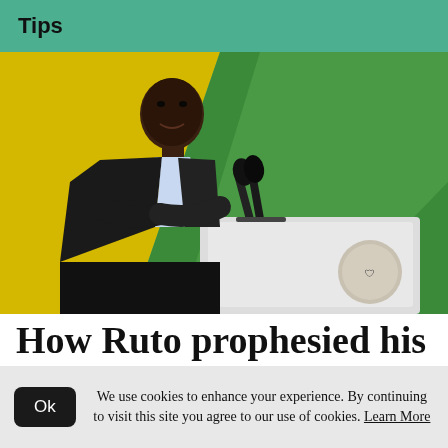Tips
[Figure (photo): A man in a dark suit standing at a podium with microphones and the Kenyan government seal, with a yellow and green backdrop behind him.]
How Ruto prophesied his
We use cookies to enhance your experience. By continuing to visit this site you agree to our use of cookies. Learn More